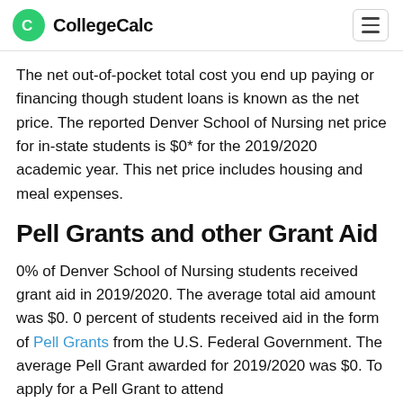CollegeCalc
The net out-of-pocket total cost you end up paying or financing though student loans is known as the net price. The reported Denver School of Nursing net price for in-state students is $0* for the 2019/2020 academic year. This net price includes housing and meal expenses.
Pell Grants and other Grant Aid
0% of Denver School of Nursing students received grant aid in 2019/2020. The average total aid amount was $0. 0 percent of students received aid in the form of Pell Grants from the U.S. Federal Government. The average Pell Grant awarded for 2019/2020 was $0. To apply for a Pell Grant to attend